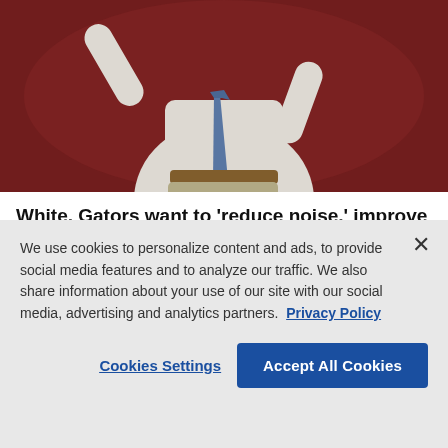[Figure (photo): A man in a white dress shirt and blue tie with arms raised, photographed against a blurred crowd background]
White, Gators want to 'reduce noise,' improve culture
By Mark Long Nov. 11, 2020 03:01 PM EST
We use cookies to personalize content and ads, to provide social media features and to analyze our traffic. We also share information about your use of our site with our social media, advertising and analytics partners. Privacy Policy
Cookies Settings
Accept All Cookies